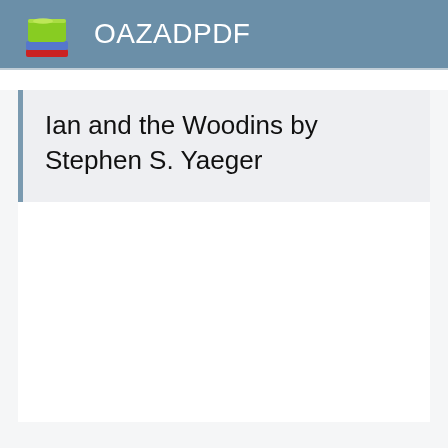OAZADPDF
Ian and the Woodins by Stephen S. Yaeger